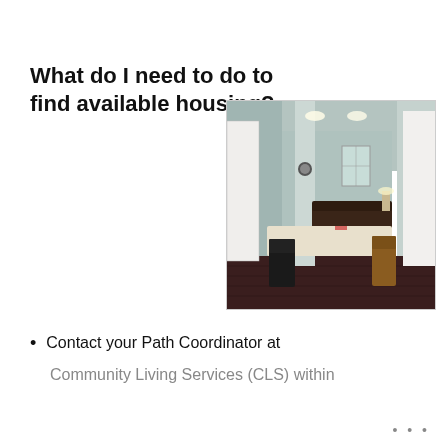What do I need to do to find available housing?
[Figure (photo): Interior photograph of a home showing a dining area with a table and chairs in the foreground, a living room with a sofa in the background, light blue-gray walls, hardwood floors, recessed lighting in the ceiling, and a clock on a column.]
Contact your Path Coordinator at Community Living Services (CLS) within
...